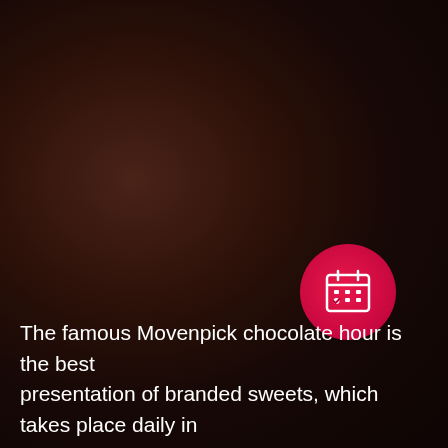[Figure (illustration): Dark brown background with radial gradient, suggesting a chocolate or luxury food theme. A red circular badge in the lower-right area contains a white calendar/schedule icon.]
The famous Movenpick chocolate hour is the best presentation of branded sweets, which takes place daily in